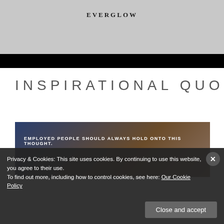[Figure (photo): Gray background photo area with EVERGLOW text centered and a black bar at the bottom]
INSPIRATIONAL QUOTE
[Figure (photo): Dark photo of a person working at a desk with overlay text: EMPLOYED PEOPLE SHOULD ALWAYS HOLD ONTO THIS THOUGHT.]
Privacy & Cookies: This site uses cookies. By continuing to use this website, you agree to their use.
To find out more, including how to control cookies, see here: Our Cookie Policy
Close and accept